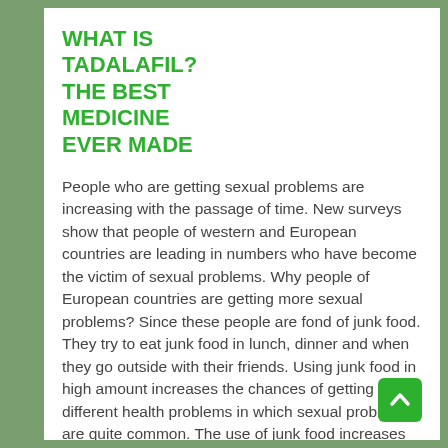WHAT IS TADALAFIL? THE BEST MEDICINE EVER MADE
People who are getting sexual problems are increasing with the passage of time. New surveys show that people of western and European countries are leading in numbers who have become the victim of sexual problems. Why people of European countries are getting more sexual problems? Since these people are fond of junk food. They try to eat junk food in lunch, dinner and when they go outside with their friends. Using junk food in high amount increases the chances of getting different health problems in which sexual problems are quite common. The use of junk food increases the cholesterol level in the blood vessels and creates difficulty for the blood to pass